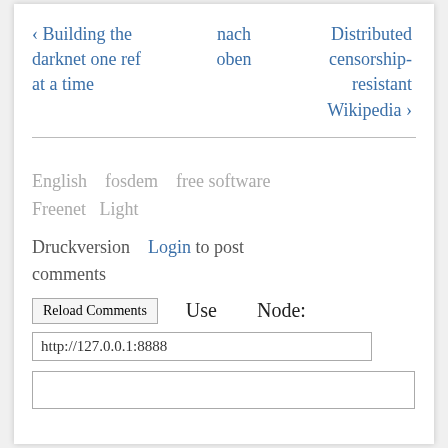‹ Building the darknet one ref at a time
nach oben
Distributed censorship-resistant Wikipedia ›
English   fosdem   free software   Freenet   Light
Druckversion   Login to post comments
Reload Comments   Use   Node:
http://127.0.0.1:8888